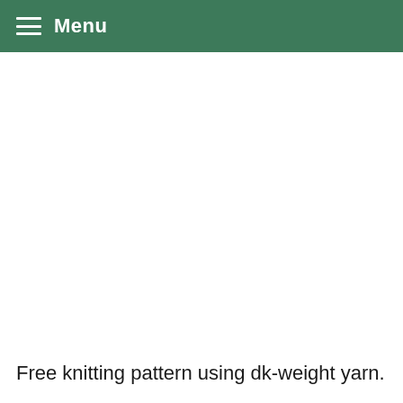Menu
Free knitting pattern using dk-weight yarn.